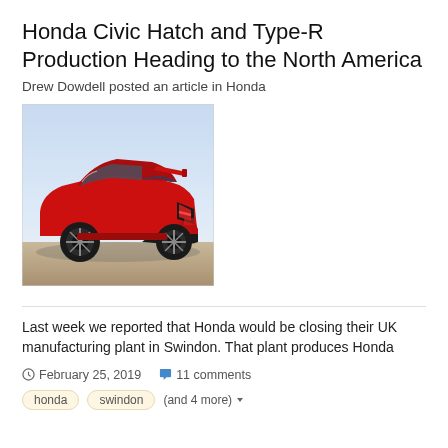Honda Civic Hatch and Type-R Production Heading to the North America
Drew Dowdell posted an article in Honda
[Figure (photo): Red Honda Civic Type-R hatchback parked outdoors, rear three-quarter view, against a light blue sky background.]
Last week we reported that Honda would be closing their UK manufacturing plant in Swindon. That plant produces Honda
February 25, 2019   11 comments
honda   swindon   (and 4 more)